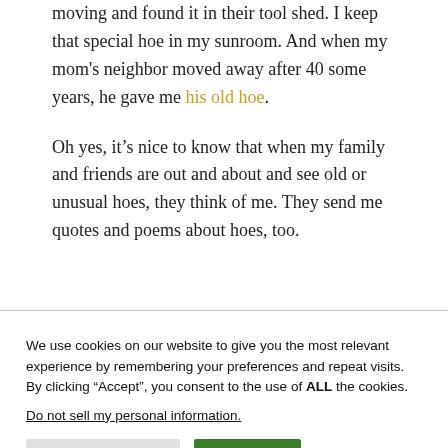moving and found it in their tool shed. I keep that special hoe in my sunroom. And when my mom's neighbor moved away after 40 some years, he gave me his old hoe.
Oh yes, it's nice to know that when my family and friends are out and about and see old or unusual hoes, they think of me. They send me quotes and poems about hoes, too.
We use cookies on our website to give you the most relevant experience by remembering your preferences and repeat visits. By clicking "Accept", you consent to the use of ALL the cookies.
Do not sell my personal information.